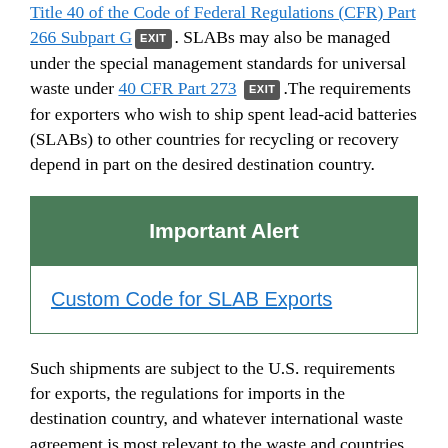Title 40 of the Code of Federal Regulations (CFR) Part 266 Subpart G [EXIT]. SLABs may also be managed under the special management standards for universal waste under 40 CFR Part 273 [EXIT]. The requirements for exporters who wish to ship spent lead-acid batteries (SLABs) to other countries for recycling or recovery depend in part on the desired destination country.
Important Alert
Custom Code for SLAB Exports
Such shipments are subject to the U.S. requirements for exports, the regulations for imports in the destination country, and whatever international waste agreement is most relevant to the waste and countries concerned.